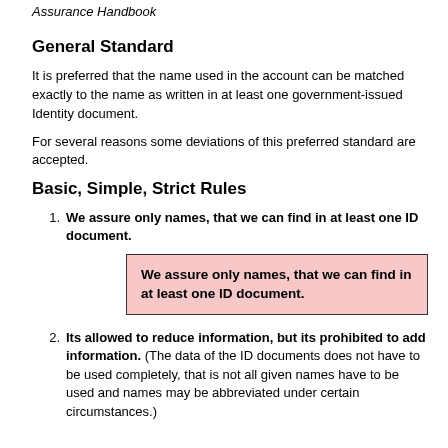Assurance Handbook
General Standard
It is preferred that the name used in the account can be matched exactly to the name as written in at least one government-issued Identity document.
For several reasons some deviations of this preferred standard are accepted.
Basic, Simple, Strict Rules
We assure only names, that we can find in at least one ID document.
We assure only names, that we can find in at least one ID document.
Its allowed to reduce information, but its prohibited to add information. (The data of the ID documents does not have to be used completely, that is not all given names have to be used and names may be abbreviated under certain circumstances.)